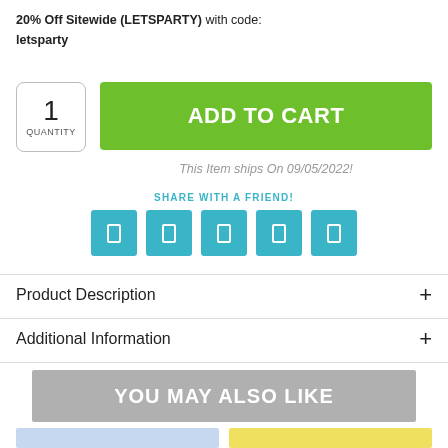20% Off Sitewide (LETSPARTY) with code: letsparty
1 QUANTITY
ADD TO CART
This Item ships On 09/05/2022!
SHARE WITH A FRIEND!
[Figure (infographic): Five cyan/teal social share icon buttons in a row]
Product Description
Additional Information
YOU MAY ALSO LIKE
[Figure (photo): Product thumbnail images partially visible at bottom of page]